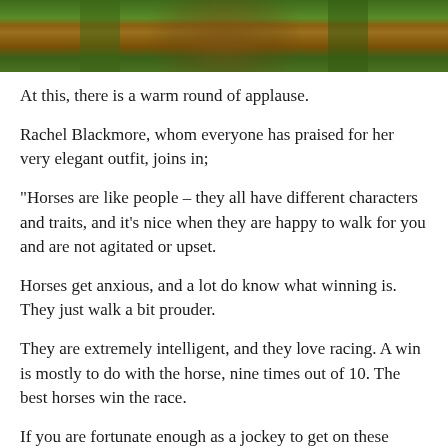[Figure (photo): Top portion of a photo showing a horse and rider with people in background, green and brown colors visible]
At this, there is a warm round of applause.
Rachel Blackmore, whom everyone has praised for her very elegant outfit, joins in;
“Horses are like people – they all have different characters and traits, and it’s nice when they are happy to walk for you and are not agitated or upset.
Horses get anxious, and a lot do know what winning is. They just walk a bit prouder.
They are extremely intelligent, and they love racing. A win is mostly to do with the horse, nine times out of 10. The best horses win the race.
If you are fortunate enough as a jockey to get on these horses, that is half the battle and when you get your leg over your horse in the parade ring, you are in the